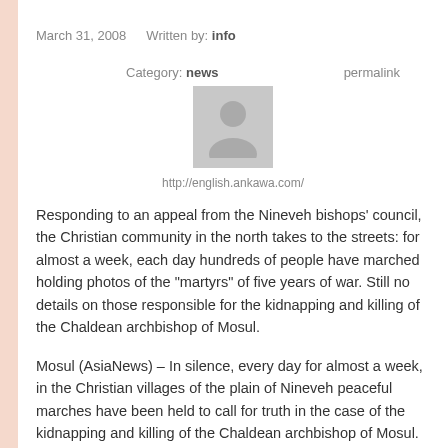March 31, 2008   Written by: info
Category: news   permalink
[Figure (photo): Generic user avatar placeholder image in grey]
http://english.ankawa.com/
Responding to an appeal from the Nineveh bishops’ council, the Christian community in the north takes to the streets: for almost a week, each day hundreds of people have marched holding photos of the “martyrs” of five years of war. Still no details on those responsible for the kidnapping and killing of the Chaldean archbishop of Mosul.
Mosul (AsiaNews) – In silence, every day for almost a week, in the Christian villages of the plain of Nineveh peaceful marches have been held to call for truth in the case of the kidnapping and killing of the Chaldean archbishop of Mosul. Archbishop Paulos Faraj Rahho was found dead on March 13,